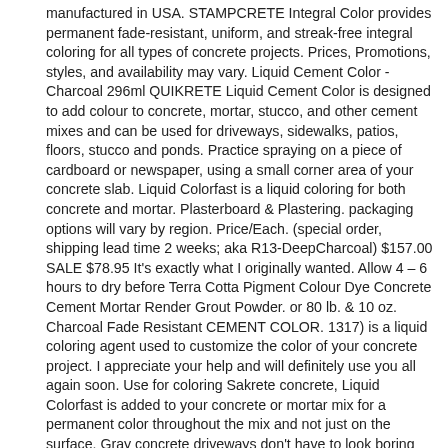manufactured in USA. STAMPCRETE Integral Color provides permanent fade-resistant, uniform, and streak-free integral coloring for all types of concrete projects. Prices, Promotions, styles, and availability may vary. Liquid Cement Color - Charcoal 296ml QUIKRETE Liquid Cement Color is designed to add colour to concrete, mortar, stucco, and other cement mixes and can be used for driveways, sidewalks, patios, floors, stucco and ponds. Practice spraying on a piece of cardboard or newspaper, using a small corner area of your concrete slab. Liquid Colorfast is a liquid coloring for both concrete and mortar. Plasterboard & Plastering. packaging options will vary by region. Price/Each. (special order, shipping lead time 2 weeks; aka R13-DeepCharcoal) $157.00 SALE $78.95 It's exactly what I originally wanted. Allow 4 – 6 hours to dry before Terra Cotta Pigment Colour Dye Concrete Cement Mortar Render Grout Powder. or 80 lb. & 10 oz. Charcoal Fade Resistant CEMENT COLOR. 1317) is a liquid coloring agent used to customize the color of your concrete project. I appreciate your help and will definitely use you all again soon. Use for coloring Sakrete concrete, Liquid Colorfast is added to your concrete or mortar mix for a permanent color throughout the mix and not just on the surface. Gray concrete driveways don't have to look boring and ordinary. Antiquing Release for Concrete, Deep Charcoal color, 30-lb pail: Antiquing Release for Decorative Concrete projects, Deep Charcoal color, 30-lb pail. The cornhole game artwork was completed using the Basic Red and White Concrete Dye. Add gorgeous, natural color to your cement and masonry projects with NewLook 3 lb. Mix with water, then mix with two 60 lb. £3.00 to £79.00. Product description. Quikrete 1317-00 Liquid Cement Color, 10oz, Charcoal. The dye will dry almost instantly. Back to top. Click & Collect.